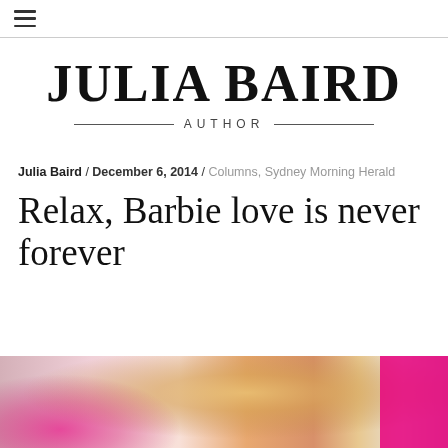≡ (hamburger menu)
[Figure (logo): Julia Baird Author logo — large bold serif text 'JULIA BAIRD' with 'AUTHOR' in spaced capitals below, flanked by horizontal rules]
Julia Baird / December 6, 2014 / Columns, Sydney Morning Herald
Relax, Barbie love is never forever
[Figure (photo): Partial photo showing a blonde woman from behind, surrounded by items on a pink/magenta background — a book, a bag, and other objects visible at the bottom of the page]